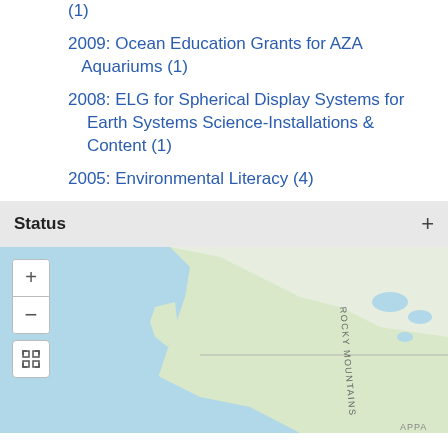(1)
2009: Ocean Education Grants for AZA Aquariums (1)
2008: ELG for Spherical Display Systems for Earth Systems Science-Installations & Content (1)
2005: Environmental Literacy (4)
Status
[Figure (map): Interactive map showing North America including Canada and United States with Rocky Mountains labeled. Map has zoom in/out controls and a fullscreen button on the left side.]